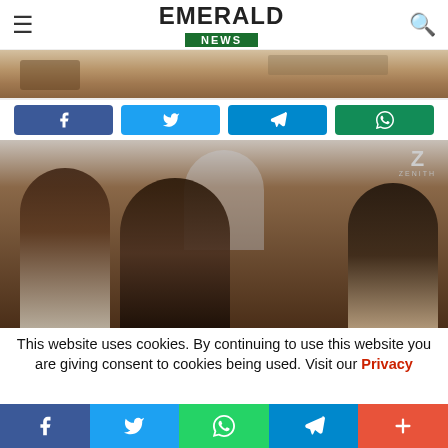EMERALD NEWS
[Figure (photo): Cropped top portion of an image showing a desk or table with fabric/clothing items, partially visible]
[Figure (other): Social sharing buttons: Facebook (blue), Twitter (light blue), Telegram (blue), WhatsApp (dark green)]
[Figure (photo): Three young African women laughing together, with a Zenith TV logo in the top right corner]
This website uses cookies. By continuing to use this website you are giving consent to cookies being used. Visit our Privacy
[Figure (other): Bottom social sharing bar: Facebook (blue), Twitter (blue), WhatsApp (green), Telegram (blue), Plus/more (red-orange)]